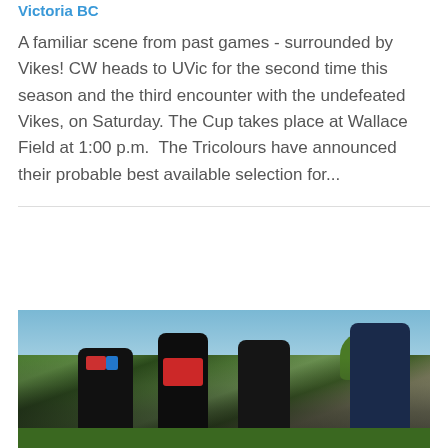Victoria BC
A familiar scene from past games - surrounded by Vikes! CW heads to UVic for the second time this season and the third encounter with the undefeated Vikes, on Saturday. The Cup takes place at Wallace Field at 1:00 p.m. The Tricolours have announced their probable best available selection for...
[Figure (photo): Rugby players in dark jerseys with red and blue stripes on a green field, surrounded by spectators and trees in background]